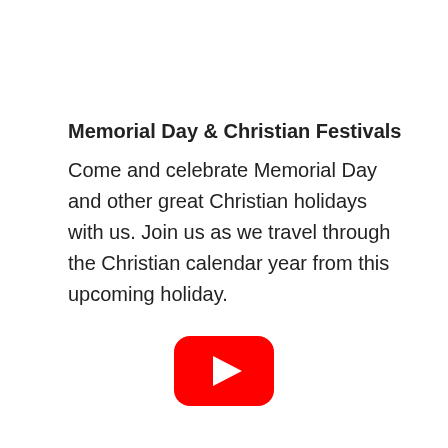Memorial Day & Christian Festivals
Come and celebrate Memorial Day and other great Christian holidays with us. Join us as we travel through the Christian calendar year from this upcoming holiday.
[Figure (logo): YouTube play button logo — red rounded rectangle with white triangle play icon in the center]